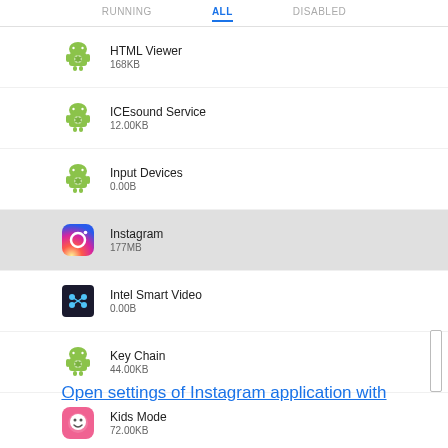[Figure (screenshot): Android app settings screen showing list of installed apps with tabs: RUNNING, ALL (active, underlined in blue), DISABLED. Apps listed: HTML Viewer 168KB, ICEsound Service 12.00KB, Input Devices 0.00B, Instagram 177MB (highlighted/selected with gray background), Intel Smart Video 0.00B, Key Chain 44.00KB, Kids Mode 72.00KB, Live Wallpaper Picker 0.00B. A scroll bar is visible on the right side.]
Open settings of Instagram application with